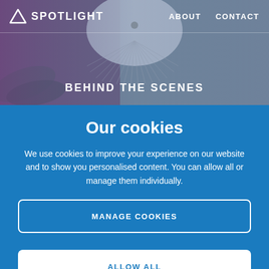SPOTLIGHT  ABOUT  CONTACT
[Figure (photo): Hero image of mushroom/fungi in blue-grey tones with overlay]
BEHIND THE SCENES
Our cookies
We use cookies to improve your experience on our website and to show you personalised content. You can allow all or manage them individually.
MANAGE COOKIES
ALLOW ALL